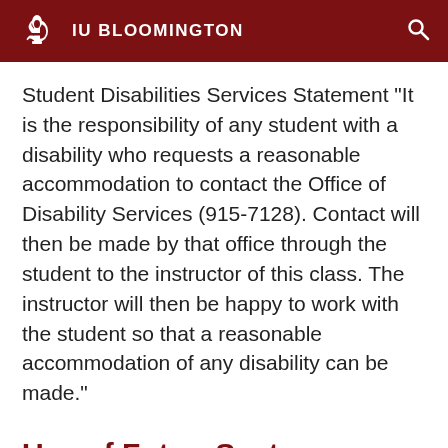IU BLOOMINGTON
Student Disabilities Services Statement "It is the responsibility of any student with a disability who requests a reasonable accommodation to contact the Office of Disability Services (915-7128). Contact will then be made by that office through the student to the instructor of this class. The instructor will then be happy to work with the student so that a reasonable accommodation of any disability can be made."
Use of FutureSystems